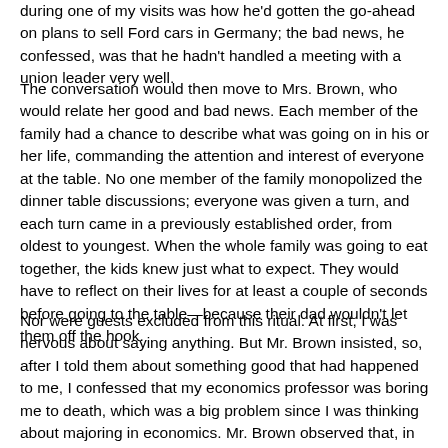during one of my visits was how he'd gotten the go-ahead on plans to sell Ford cars in Germany; the bad news, he confessed, was that he hadn't handled a meeting with a union leader very well.
The conversation would then move to Mrs. Brown, who would relate her good and bad news. Each member of the family had a chance to describe what was going on in his or her life, commanding the attention and interest of everyone at the table. No one member of the family monopolized the dinner table discussions; everyone was given a turn, and each turn came in a previously established order, from oldest to youngest. When the whole family was going to eat together, the kids knew just what to expect. They would have to reflect on their lives for at least a couple of seconds before going to the table—because their dad wouldn't let them off the hook.
Nor were guests excluded from this ritual. At first, I was nervous about saying anything. But Mr. Brown insisted, so, after I told them about something good that had happened to me, I confessed that my economics professor was boring me to death, which was a big problem since I was thinking about majoring in economics. Mr. Brown observed that, in general, economics is boring, and that most